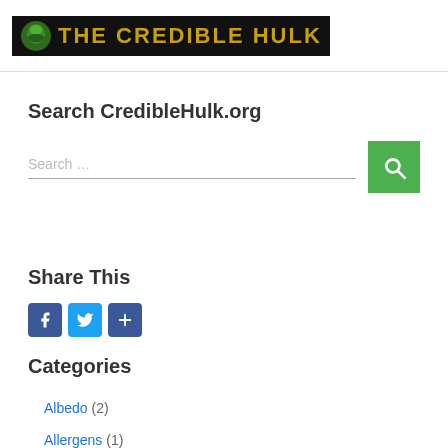[Figure (logo): The Credible Hulk website logo — dark background banner with stylized gold/green text reading 'THE CREDIBLE HULK' with a Hulk icon on the left]
Search CredibleHulk.org
Search …
Share This
[Figure (infographic): Three social share buttons: Facebook (blue), Twitter (light blue), and a plus/share button (blue)]
Categories
Albedo (2)
Allergens (1)